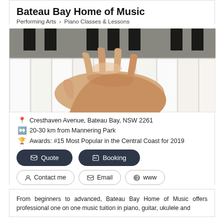Bateau Bay Home of Music
Performing Arts > Piano Classes & Lessons
[Figure (photo): Close-up photo of a hand playing piano keys, showing white and black keys with a hand pressing down on them.]
Cresthaven Avenue, Bateau Bay, NSW 2261
20-30 km from Mannering Park
Awards: #15 Most Popular in the Central Coast for 2019
Quote
Booking
Contact me
Email
www
From beginners to advanced, Bateau Bay Home of Music offers professional one on one music tuition in piano, guitar, ukulele and